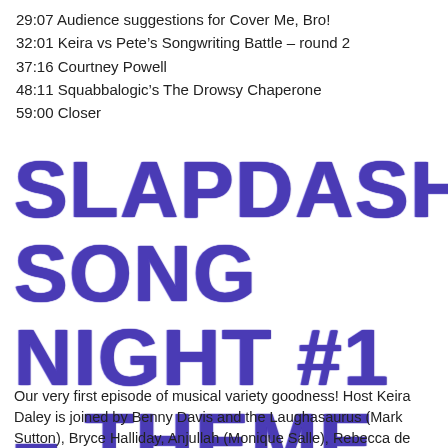29:07 Audience suggestions for Cover Me, Bro!
32:01 Keira vs Pete's Songwriting Battle – round 2
37:16 Courtney Powell
48:11 Squabbalogic's The Drowsy Chaperone
59:00 Closer
SLAPDASH SONG NIGHT #1 – THEME SONGS AND OPENING NUMBERS
Our very first episode of musical variety goodness! Host Keira Daley is joined by Benny Davis and the Laughasaurus (Mark Sutton), Bryce Halliday, Anjullah (Monique Salle), Rebecca de